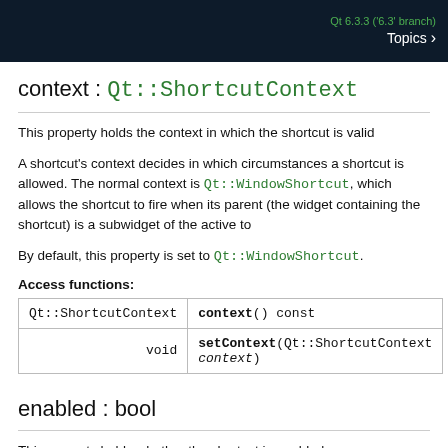Qt 6.3.3 ('6.3' branch)  Topics >
context : Qt::ShortcutContext
This property holds the context in which the shortcut is valid
A shortcut's context decides in which circumstances a shortcut is allowed. The normal context is Qt::WindowShortcut, which allows the shortcut to fire when its parent (the widget containing the shortcut) is a subwidget of the active top-
By default, this property is set to Qt::WindowShortcut.
Access functions:
|  |  |
| --- | --- |
| Qt::ShortcutContext | context() const |
| void | setContext(Qt::ShortcutContext context) |
enabled : bool
This property holds whether the shortcut is enabled.